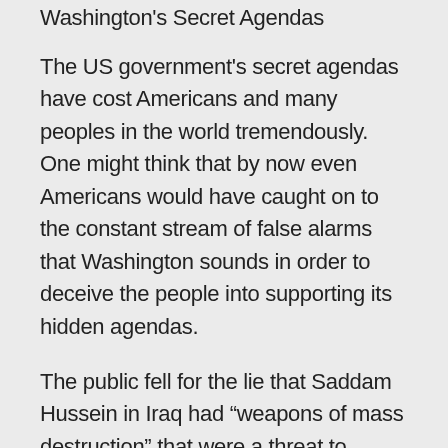Washington's Secret Agendas
The US government's secret agendas have cost Americans and many peoples in the world tremendously.
One might think that by now even Americans would have caught on to the constant stream of false alarms that Washington sounds in order to deceive the people into supporting its hidden agendas.
The public fell for the lie that Saddam Hussein in Iraq had “weapons of mass destruction” that were a threat to America and that if